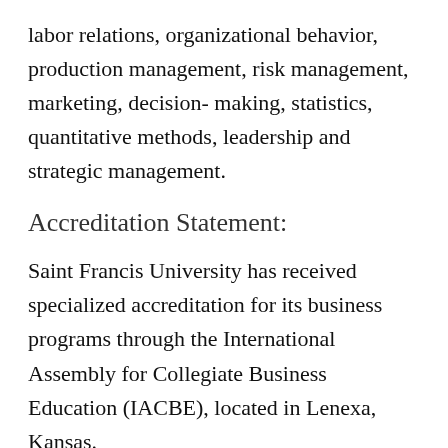labor relations, organizational behavior, production management, risk management, marketing, decision- making, statistics, quantitative methods, leadership and strategic management.
Accreditation Statement:
Saint Francis University has received specialized accreditation for its business programs through the International Assembly for Collegiate Business Education (IACBE), located in Lenexa, Kansas.
Student Learning Outcomes:
The Shields School of Business will graduate